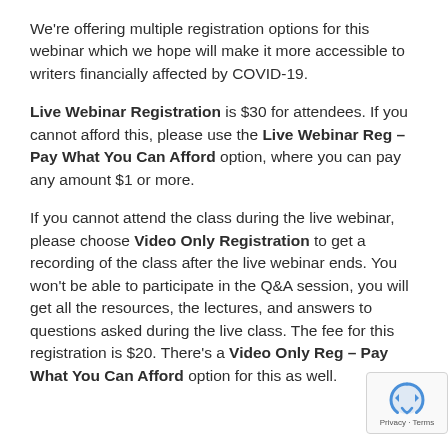We're offering multiple registration options for this webinar which we hope will make it more accessible to writers financially affected by COVID-19.
Live Webinar Registration is $30 for attendees. If you cannot afford this, please use the Live Webinar Reg – Pay What You Can Afford option, where you can pay any amount $1 or more.
If you cannot attend the class during the live webinar, please choose Video Only Registration to get a recording of the class after the live webinar ends. You won't be able to participate in the Q&A session, you will get all the resources, the lectures, and answers to questions asked during the live class. The fee for this registration is $20. There's a Video Only Reg – Pay What You Can Afford option for this as well.